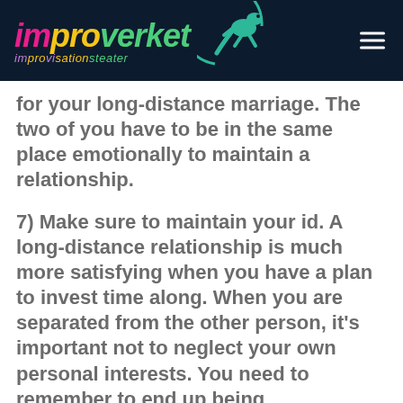[Figure (logo): Improverket improvisationsteater logo with colorful text and gecko illustration on dark navy background]
for your long-distance marriage. The two of you have to be in the same place emotionally to maintain a relationship.
7) Make sure to maintain your id. A long-distance relationship is much more satisfying when you have a plan to invest time along. When you are separated from the other person, it's important not to neglect your own personal interests. You need to remember to end up being independent and enjoy your free time. You can also find good friends and encounter new things when being